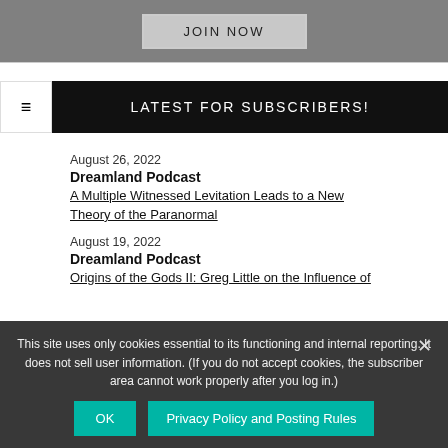[Figure (other): JOIN NOW button on gray background]
LATEST FOR SUBSCRIBERS!
August 26, 2022
Dreamland Podcast
A Multiple Witnessed Levitation Leads to a New Theory of the Paranormal
August 19, 2022
Dreamland Podcast
Origins of the Gods II: Greg Little on the Influence of
This site uses only cookies essential to its functioning and internal reporting. It does not sell user information. (If you do not accept cookies, the subscriber area cannot work properly after you log in.)